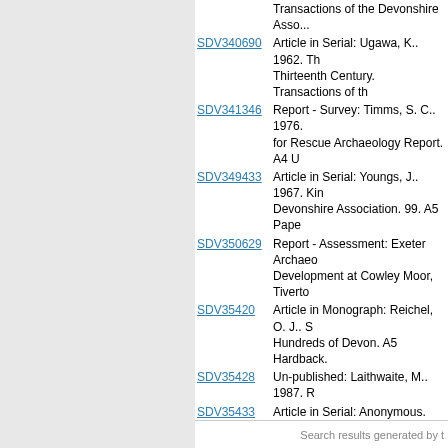SDV340690 - Article in Serial: Ugawa, K.. 1962. Thirteenth Century. Transactions of the Devonshire Association.
SDV341346 - Report - Survey: Timms, S. C.. 1976. for Rescue Archaeology Report. A4 U
SDV349433 - Article in Serial: Youngs, J.. 1967. Devonshire Association. 99. A5 Pape
SDV350629 - Report - Assessment: Exeter Archaeo Development at Cowley Moor, Tiverto
SDV35420 - Article in Monograph: Reichel, O. J.. Hundreds of Devon. A5 Hardback.
SDV35428 - Un-published: Laithwaite, M.. 1987.
SDV35433 - Article in Serial: Anonymous. 1927. Association at Exeter. Journal of the
Associated Monuments
MDV1379 - Related to: Tiverton Castle (Building)
Associated Finds: none recorded
Associated Events: none recorded
Date Last Edited: Feb 27 2015 11:28AM
Search results generated by t